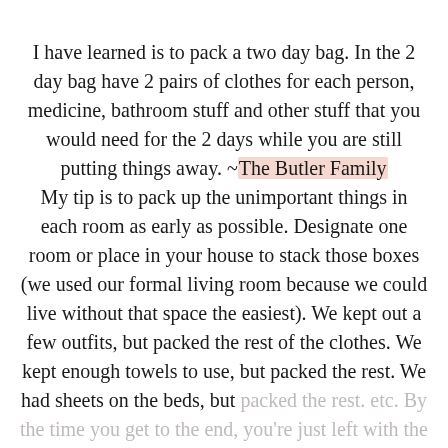I have learned is to pack a two day bag. In the 2 day bag have 2 pairs of clothes for each person, medicine, bathroom stuff and other stuff that you would need for the 2 days while you are still putting things away. ~The Butler Family My tip is to pack up the unimportant things in each room as early as possible. Designate one room or place in your house to stack those boxes (we used our formal living room because we could live without that space the easiest). We kept out a few outfits, but packed the rest of the clothes. We kept enough towels to use, but packed the rest. We had sheets on the beds, but packed the rest. etc. By the time you get to the end, you're just left with the essentials which will